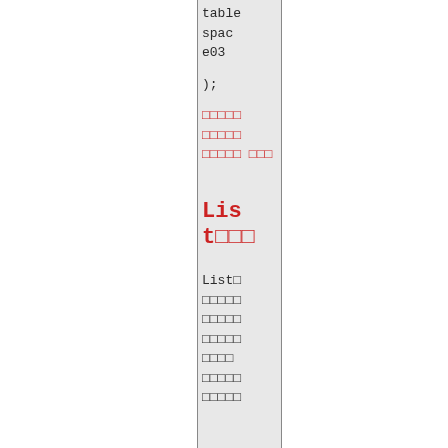tablespace03
);
□□□□□
□□□□□
□□□□□
□□□
List□□□
List□
□□□□□
□□□□□
□□□□□
□□□□
□□□□□
□□□□□